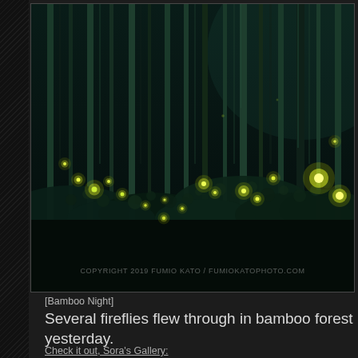[Figure (photo): Night photograph of a bamboo forest with multiple fireflies glowing yellow-green among dark bamboo stalks and foliage. Copyright watermark: COPYRIGHT 2019 FUMIO KATO / FUMIOKATOPHOTO.COM]
[Bamboo Night]
Several fireflies flew through in bamboo forest yesterday.
Check it out, Sora's Gallery: